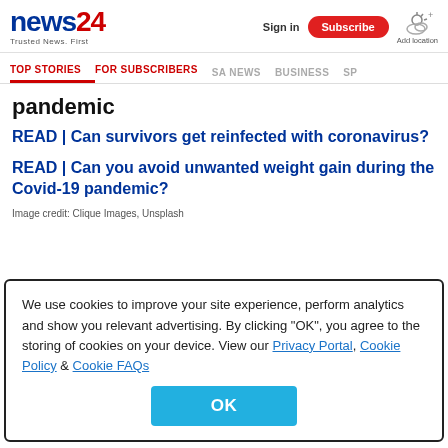news24 | Trusted News. First | Sign in | Subscribe | Add location
TOP STORIES | FOR SUBSCRIBERS | SA NEWS | BUSINESS | SP
pandemic
READ | Can survivors get reinfected with coronavirus?
READ | Can you avoid unwanted weight gain during the Covid-19 pandemic?
Image credit: Clique Images, Unsplash
We use cookies to improve your site experience, perform analytics and show you relevant advertising. By clicking "OK", you agree to the storing of cookies on your device. View our Privacy Portal, Cookie Policy & Cookie FAQs
OK